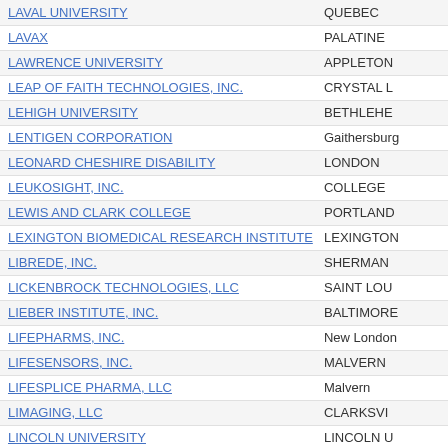| Organization Name | City |
| --- | --- |
| LAVAL UNIVERSITY | QUEBEC |
| LAVAX | PALATINE |
| LAWRENCE UNIVERSITY | APPLETON |
| LEAP OF FAITH TECHNOLOGIES, INC. | CRYSTAL L |
| LEHIGH UNIVERSITY | BETHLEHE |
| LENTIGEN CORPORATION | Gaithersburg |
| LEONARD CHESHIRE DISABILITY | LONDON |
| LEUKOSIGHT, INC. | COLLEGE |
| LEWIS AND CLARK COLLEGE | PORTLAND |
| LEXINGTON BIOMEDICAL RESEARCH INSTITUTE | LEXINGTON |
| LIBREDE, INC. | SHERMAN |
| LICKENBROCK TECHNOLOGIES, LLC | SAINT LOU |
| LIEBER INSTITUTE, INC. | BALTIMORE |
| LIFEPHARMS, INC. | New London |
| LIFESENSORS, INC. | MALVERN |
| LIFESPLICE PHARMA, LLC | Malvern |
| LIMAGING, LLC | CLARKSVI |
| LINCOLN UNIVERSITY | LINCOLN U |
| LINDA AND CAMERON, INC. | SOLON |